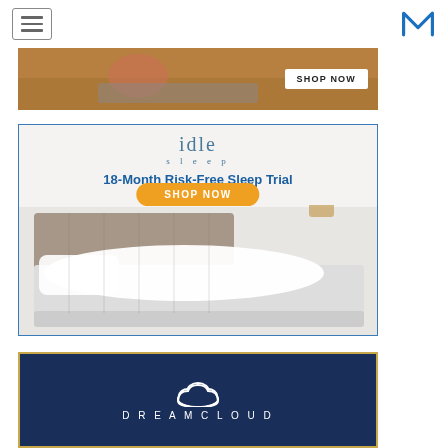[Figure (screenshot): Navigation bar with hamburger menu icon on left and blue stylized M logo on right]
[Figure (infographic): Partial top advertisement banner showing a person with a mattress and a SHOP NOW button]
[Figure (infographic): Idle Sleep advertisement: '18-Month Risk-Free Sleep Trial' with orange SHOP NOW button and mattress photo]
[Figure (infographic): DreamCloud advertisement banner with dark navy background, gold border, cloud logo, and DREAMCLOUD text (partially visible)]